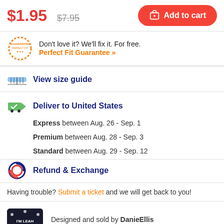$1.95  $7.95  Add to cart
Don't love it? We'll fix it. For free. Perfect Fit Guarantee »
View size guide
Deliver to United States
Express between Aug. 26 - Sep. 1
Premium between Aug. 28 - Sep. 3
Standard between Aug. 29 - Sep. 12
Refund & Exchange
Having trouble? Submit a ticket and we will get back to you!
Designed and sold by DanieEllis